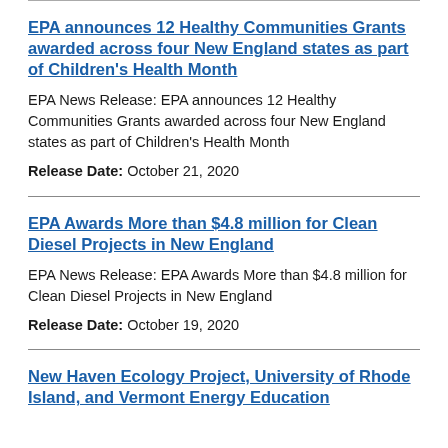EPA announces 12 Healthy Communities Grants awarded across four New England states as part of Children's Health Month
EPA News Release: EPA announces 12 Healthy Communities Grants awarded across four New England states as part of Children's Health Month
Release Date: October 21, 2020
EPA Awards More than $4.8 million for Clean Diesel Projects in New England
EPA News Release: EPA Awards More than $4.8 million for Clean Diesel Projects in New England
Release Date: October 19, 2020
New Haven Ecology Project, University of Rhode Island, and Vermont Energy Education